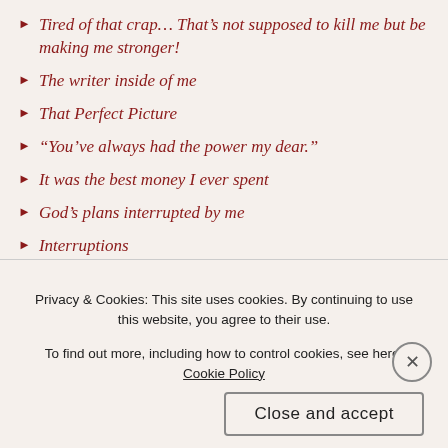Tired of that crap… That's not supposed to kill me but be making me stronger!
The writer inside of me
That Perfect Picture
“You’ve always had the power my dear.”
It was the best money I ever spent
God’s plans interrupted by me
Interruptions
Those rooms inside my head
On A Warm Summer Night in 1963
“I Always Will”
Growing through it all
Privacy & Cookies: This site uses cookies. By continuing to use this website, you agree to their use. To find out more, including how to control cookies, see here: Cookie Policy